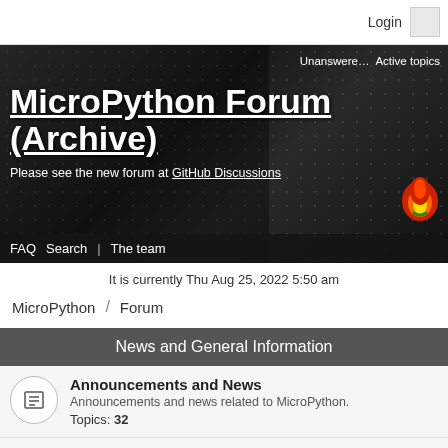Login
[Figure (screenshot): MicroPython Forum (Archive) banner with circuit board background. Shows title 'MicroPython Forum (Archive)', subtitle 'Please see the new forum at GitHub Discussions', nav links FAQ, Search, The team, and top-right links Unanswere... and Active topics]
It is currently Thu Aug 25, 2022 5:50 am
MicroPython / Forum
News and General Information
Announcements and News
Announcements and news related to MicroPython.
Topics: 32
Newsletter archive